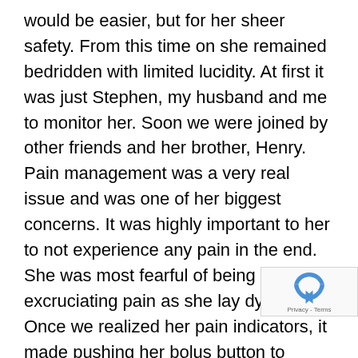would be easier, but for her sheer safety. From this time on she remained bedridden with limited lucidity. At first it was just Stephen, my husband and me to monitor her. Soon we were joined by other friends and her brother, Henry. Pain management was a very real issue and was one of her biggest concerns. It was highly important to her to not experience any pain in the end. She was most fearful of being in excruciating pain as she lay dying. Once we realized her pain indicators, it made pushing her bolus button to manage her pain easier. What we had thought was her tumor pushing on her nerves and spine was actually a manifestation of her pain. Her pain sign was her leg or toes twitching. Her toes would start in the most subtle of ways and then ramp up until her leg was jerking most vigorously. Since she had no other way of indicating she was in pain we needed